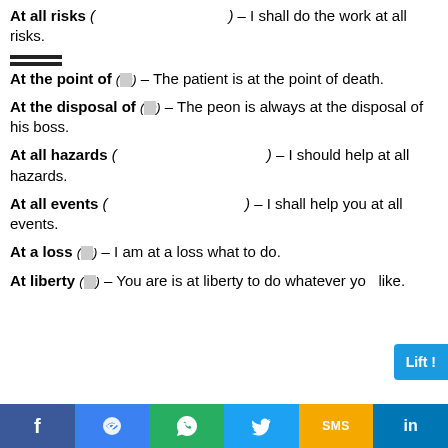At all risks ( ) – I shall do the work at all risks.
At the point of (हिंदी) – The patient is at the point of death.
At the disposal of (हिंदी) – The peon is always at the disposal of his boss.
At all hazards ( ) – I should help at all hazards.
At all events ( ) – I shall help you at all events.
At a loss (हिंदी) – I am at a loss what to do.
At liberty (हिंदी) – You are is at liberty to do whatever you like.